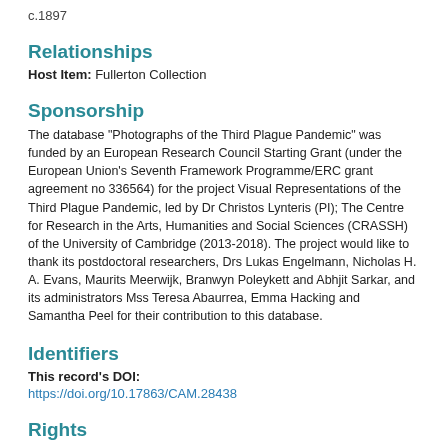c.1897
Relationships
Host Item: Fullerton Collection
Sponsorship
The database "Photographs of the Third Plague Pandemic" was funded by an European Research Council Starting Grant (under the European Union's Seventh Framework Programme/ERC grant agreement no 336564) for the project Visual Representations of the Third Plague Pandemic, led by Dr Christos Lynteris (PI); The Centre for Research in the Arts, Humanities and Social Sciences (CRASSH) of the University of Cambridge (2013-2018). The project would like to thank its postdoctoral researchers, Drs Lukas Engelmann, Nicholas H. A. Evans, Maurits Meerwijk, Branwyn Poleykett and Abhjit Sarkar, and its administrators Mss Teresa Abaurrea, Emma Hacking and Samantha Peel for their contribution to this database.
Identifiers
This record's DOI:
https://doi.org/10.17863/CAM.28438
Rights